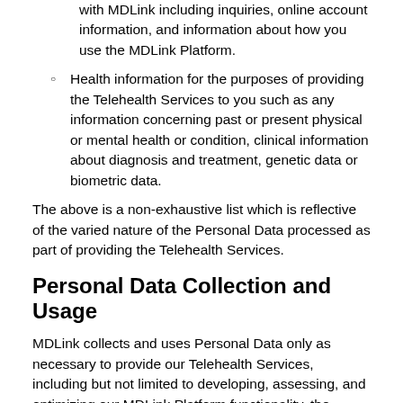with MDLink including inquiries, online account information, and information about how you use the MDLink Platform.
Health information for the purposes of providing the Telehealth Services to you such as any information concerning past or present physical or mental health or condition, clinical information about diagnosis and treatment, genetic data or biometric data.
The above is a non-exhaustive list which is reflective of the varied nature of the Personal Data processed as part of providing the Telehealth Services.
Personal Data Collection and Usage
MDLink collects and uses Personal Data only as necessary to provide our Telehealth Services, including but not limited to developing, assessing, and optimizing our MDLink Platform functionality, the Telehealth Services and user experience. We only collect Personal Data if non-identifying information will not suffice. We minimize our collection and use of Personal Data to what is needed